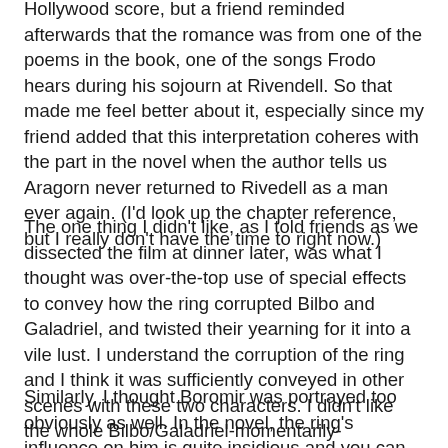Hollywood score, but a friend reminded afterwards that the romance was from one of the poems in the book, one of the songs Frodo hears during his sojourn at Rivendell. So that made me feel better about it, especially since my friend added that this interpretation coheres with the part in the novel when the author tells us Aragorn never returned to Rivedell as a man ever again. (I'd look up the chapter reference, but I really don't have the time to right now.)
The one thing I didn't like, as I told friends as we dissected the film at dinner later, was what I thought was over-the-top use of special effects to convey how the ring corrupted Bilbo and Galadriel, and twisted their yearning for it into a vile lust. I understand the corruption of the ring and I think it was sufficiently conveyed in other scenes with these two characters. I didn't like the whole Bilbo/Galadriel-momentarily-morphing-into-demon thing. I GET IT. The ring makes people crazy. Let the actors act and stop showing off your CGI budget!
Similarly, I thought Boromir was portrayed too obviously as well. In the novel, the ring's influence on him is quite insidious and you can really sense how little by little, he's